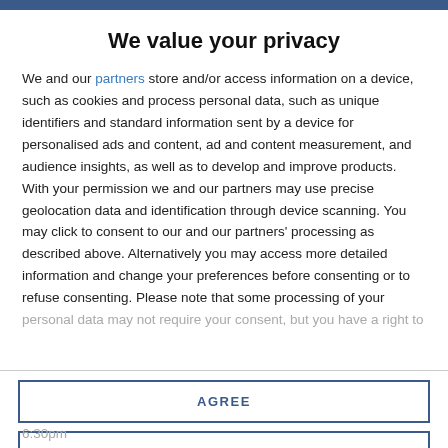We value your privacy
We and our partners store and/or access information on a device, such as cookies and process personal data, such as unique identifiers and standard information sent by a device for personalised ads and content, ad and content measurement, and audience insights, as well as to develop and improve products. With your permission we and our partners may use precise geolocation data and identification through device scanning. You may click to consent to our and our partners' processing as described above. Alternatively you may access more detailed information and change your preferences before consenting or to refuse consenting. Please note that some processing of your personal data may not require your consent, but you have a right to
AGREE
MORE OPTIONS
6:30pm